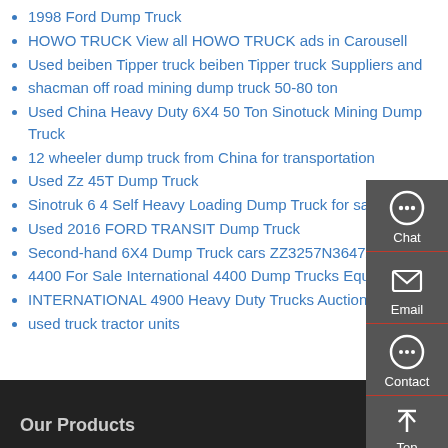1998 Ford Dump Truck
HOWO TRUCK View all HOWO TRUCK ads in Carousell
Used beiben Tipper truck beiben Tipper truck Suppliers and
shacman off road mining dump truck 50-80 ton
Used China Heavy Duty 6X4 50 Ton Sinotuck Mining Dump Truck
12 wheeler dump truck from China for transportation
Used Zz 45T Dump Truck
Sinotruk 6 4 Self Heavy Loading Dump Truck for sale Cheap
Used 2016 FORD TRANSIT Dump Truck
Second-hand 6X4 Dump Truck cars ZZ3257N3647A
4400 For Sale International 4400 Dump Trucks Equipment
INTERNATIONAL 4900 Heavy Duty Trucks Auction Results
used truck tractor units
[Figure (infographic): Sidebar with Chat, Email, Contact, Top buttons on dark gray background]
Our Products